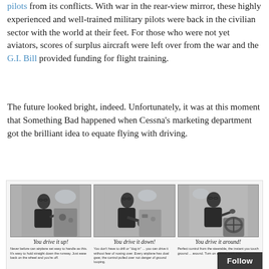pilots from its conflicts. With war in the rear-view mirror, these highly experienced and well-trained military pilots were back in the civilian sector with the world at their feet. For those who were not yet aviators, scores of surplus aircraft were left over from the war and the G.I. Bill provided funding for flight training.
The future looked bright, indeed. Unfortunately, it was at this moment that Something Bad happened when Cessna's marketing department got the brilliant idea to equate flying with driving.
[Figure (photo): Vintage black-and-white Cessna advertisement with three panel photos of a man in a suit and glasses seated in an airplane cockpit, with captions: 'You drive it up!', 'You drive it down!', 'You drive it around!' and small advertising text below each panel.]